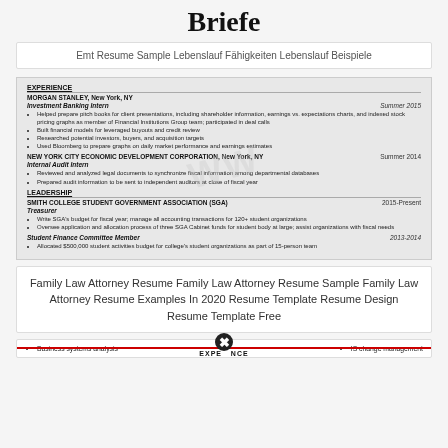Briefe
Emt Resume Sample Lebenslauf Fähigkeiten Lebenslauf Beispiele
[Figure (screenshot): Resume screenshot showing EXPERIENCE section with MORGAN STANLEY Investment Banking Intern (Summer 2015) and NEW YORK CITY ECONOMIC DEVELOPMENT CORPORATION Internal Audit Intern (Summer 2014), and LEADERSHIP section with SMITH COLLEGE STUDENT GOVERNMENT ASSOCIATION Treasurer (2015-Present) and Student Finance Committee Member (2013-2014). Watermark visible.]
Family Law Attorney Resume Family Law Attorney Resume Sample Family Law Attorney Resume Examples In 2020 Resume Template Resume Design Resume Template Free
[Figure (screenshot): Bottom portion of a resume showing bullet points: Business systems analysis, IS change management, with a red line and EXPERIENCE label and a close/X button overlay.]